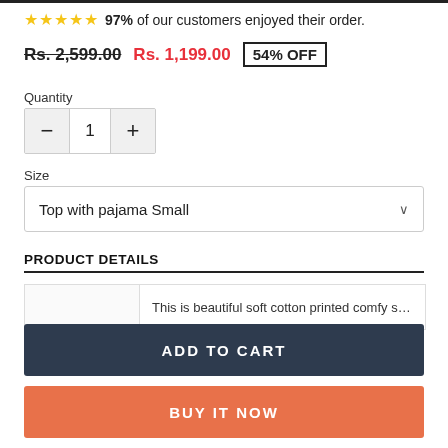★★★★★ 97% of our customers enjoyed their order.
Rs. 2,599.00  Rs. 1,199.00  54% OFF
Quantity
1
Size
Top with pajama Small
PRODUCT DETAILS
This is beautiful soft cotton printed comfy skin-
ADD TO CART
BUY IT NOW